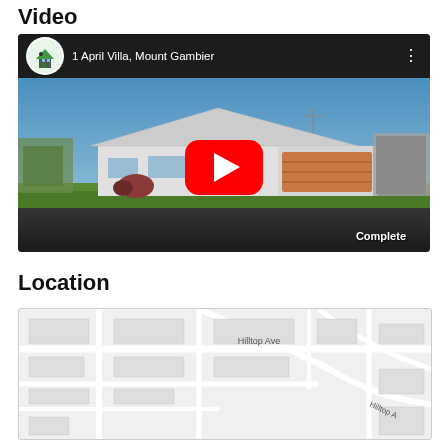Video
[Figure (screenshot): YouTube video thumbnail showing a house at 1 April Villa, Mount Gambier. The video shows a modern single-story home with a large garage door, green lawn, and blue sky. A red YouTube play button is centered on the image. 'Complete' watermark appears in the bottom right corner.]
Location
[Figure (map): Street map showing the location near Hilltop Ave in Mount Gambier. The map shows street blocks and roads including Hilltop Ave labeled.]